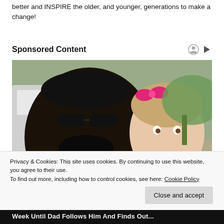better and INSPIRE the older, and younger, generations to make a change!
Sponsored Content
[Figure (photo): Photo of a smiling man wearing a black cap and sunglasses posing with a young girl with a pink bow in her hair, outdoors near a white vehicle with green grass in background.]
Privacy & Cookies: This site uses cookies. By continuing to use this website, you agree to their use.
To find out more, including how to control cookies, see here: Cookie Policy
Close and accept
Week Until Dad Follows Him And Finds Out...